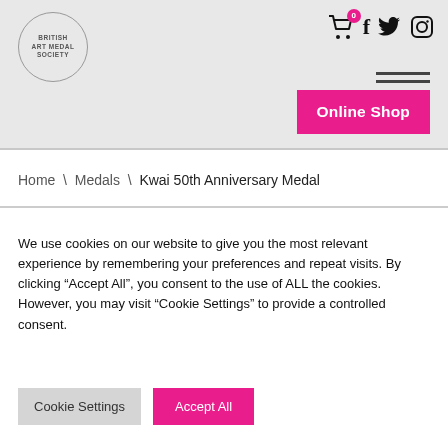[Figure (logo): British Art Medal Society circular logo in grey circle outline]
[Figure (illustration): Shopping cart icon with pink badge showing 0, and social media icons: Facebook (f), Twitter (bird), Instagram (camera)]
[Figure (illustration): Hamburger menu icon (two horizontal lines)]
[Figure (illustration): Online Shop pink button in header]
Home \ Medals \ Kwai 50th Anniversary Medal
We use cookies on our website to give you the most relevant experience by remembering your preferences and repeat visits. By clicking “Accept All”, you consent to the use of ALL the cookies. However, you may visit "Cookie Settings" to provide a controlled consent.
Cookie Settings
Accept All